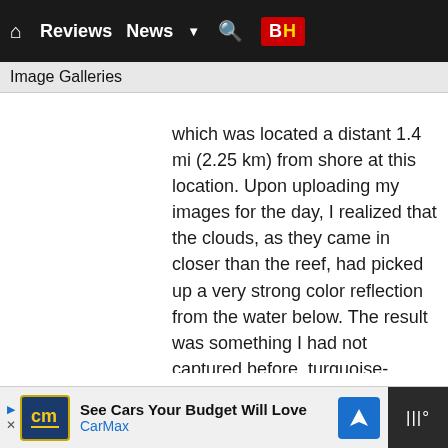Reviews  News  BH
Image Galleries
which was located a distant 1.4 mi (2.25 km) from shore at this location. Upon uploading my images for the day, I realized that the clouds, as they came in closer than the reef, had picked up a very strong color reflection from the water below. The result was something I had not captured before, turquoise-colored clouds.
Photography (usually) rewards effort – effort pays off. It was definitely worth the effort of a round trip to the vehicle to add this (and many other similar) images to the collection. I'll leave the "foresight to take the camera with me the first time" topic for another day.
[Figure (screenshot): Advertisement bar at the bottom: CarMax ad with logo, 'See Cars Your Budget Will Love' text, navigation icon, and weather widget on dark background.]